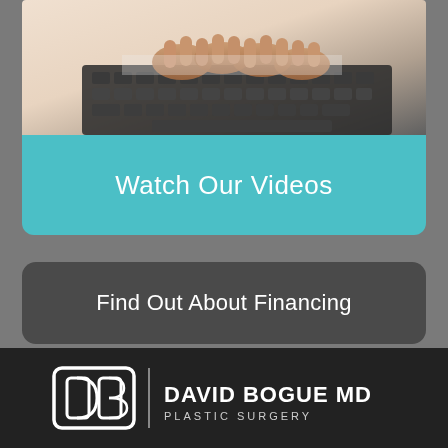[Figure (photo): Hands typing on a laptop keyboard, close-up photo]
Watch Our Videos
Find Out About Financing
Frequently Asked Questions
[Figure (logo): David Bogue MD Plastic Surgery logo with DB icon and text]